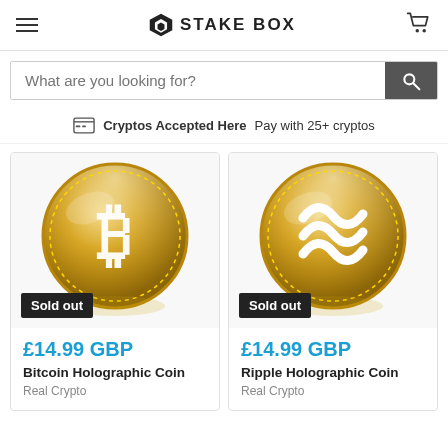STAKE BOX
What are you looking for?
Cryptos Accepted Here Pay with 25+ cryptos
[Figure (photo): Gold Bitcoin holographic coin on white background with reflection]
Sold out
£14.99 GBP
Bitcoin Holographic Coin
Real Crypto
[Figure (photo): Gold Ripple holographic coin on white background with reflection]
Sold out
£14.99 GBP
Ripple Holographic Coin
Real Crypto